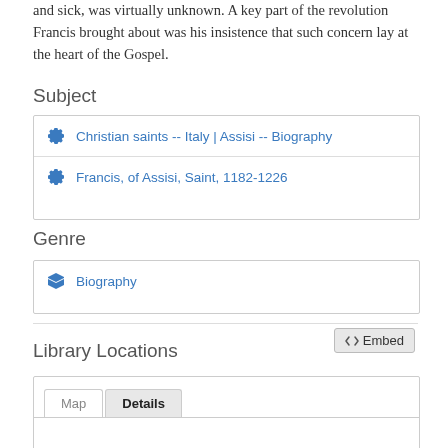and sick, was virtually unknown. A key part of the revolution Francis brought about was his insistence that such concern lay at the heart of the Gospel.
Subject
Christian saints -- Italy | Assisi -- Biography
Francis, of Assisi, Saint, 1182-1226
Genre
Biography
Library Locations